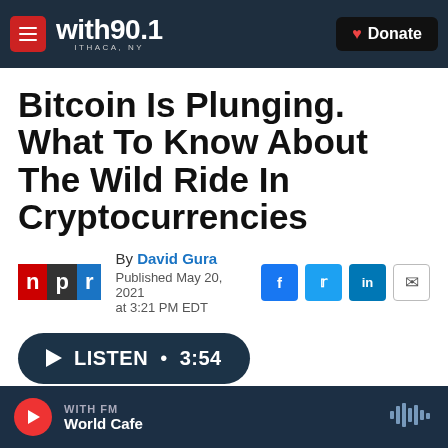with90.1 ITHACA, NY — Donate
Bitcoin Is Plunging. What To Know About The Wild Ride In Cryptocurrencies
By David Gura
Published May 20, 2021 at 3:21 PM EDT
[Figure (logo): NPR logo with red N, dark P, blue R blocks]
LISTEN • 3:54
WITH FM — World Cafe